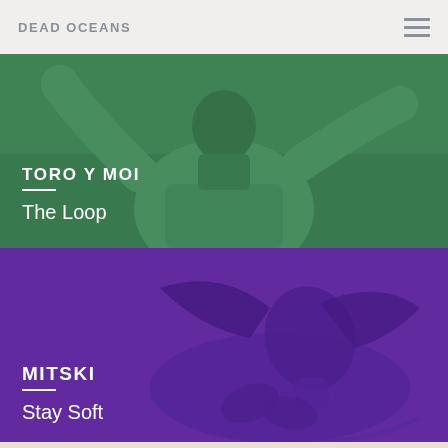DEAD OCEANS
[Figure (photo): Toro y Moi artist photo with green color overlay showing a man in a puffy green jacket with arms raised, overlaid with text 'TORO Y MOI' and 'The Loop']
[Figure (photo): Mitski artist photo with purple color overlay showing a woman lying back with eyes closed and hands on chest, overlaid with text 'MITSKI' and 'Stay Soft']